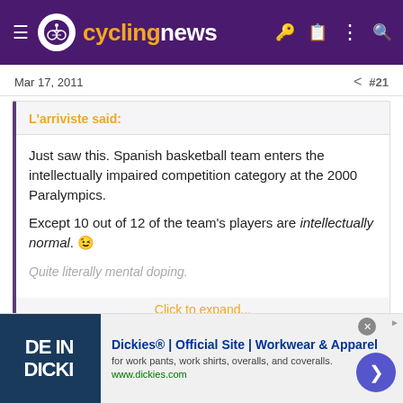cyclingnews
Mar 17, 2011  #21
L'arriviste said:
Just saw this. Spanish basketball team enters the intellectually impaired competition category at the 2000 Paralympics.

Except 10 out of 12 of the team's players are intellectually normal. 😉

Quite literally mental doping.

Click to expand...
An event that was the inspiration for this rubbish film:
[Figure (screenshot): Advertisement banner for Dickies Official Site showing workwear and apparel]
Dickies® | Official Site | Workwear & Apparel
for work pants, work shirts, overalls, and coveralls.
www.dickies.com